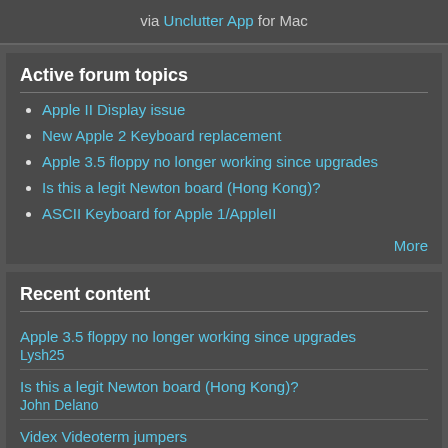via Unclutter App for Mac
Active forum topics
Apple II Display issue
New Apple 2 Keyboard replacement
Apple 3.5 floppy no longer working since upgrades
Is this a legit Newton board (Hong Kong)?
ASCII Keyboard for Apple 1/AppleII
More
Recent content
Apple 3.5 floppy no longer working since upgrades
Lysh25
Is this a legit Newton board (Hong Kong)?
John Delano
Videx Videoterm jumpers
bradleyb